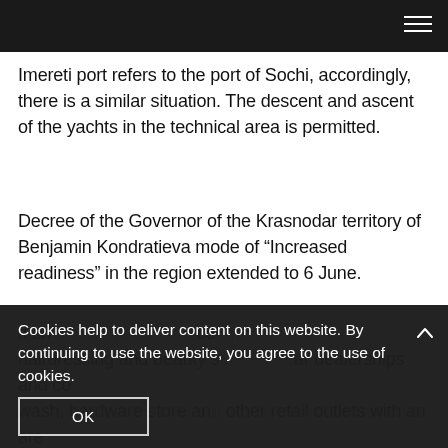Imereti port refers to the port of Sochi, accordingly, there is a similar situation. The descent and ascent of the yachts in the technical area is permitted.
Decree of the Governor of the Krasnodar territory of Benjamin Kondratieva mode of “Increased readiness” in the region extended to 6 June.
It should be noted that car dealerships and car wash, hardware store and other retail outlets with an area of 400 square meters.
Cookies help to deliver content on this website. By continuing to use the website, you agree to the use of cookies.
OK